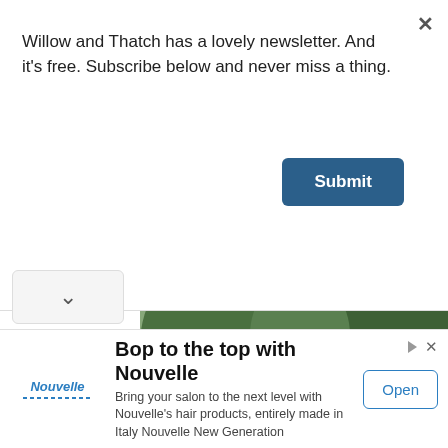Willow and Thatch has a lovely newsletter. And it's free. Subscribe below and never miss a thing.
[Figure (screenshot): Close (X) button in top right corner of popup]
[Figure (screenshot): Submit button - dark blue rounded rectangle with white bold text 'Submit']
[Figure (photo): Four women in early 20th century period clothing standing outdoors in a garden setting. One elderly woman in dark clothing with a wide-brimmed black hat on the left, a tall woman in yellow/mustard dress in the center-left, a woman in a pink/gray draped dress with a large orange hat, and a younger woman in a mustard/olive cardigan on the right.]
[Figure (screenshot): Chevron/down arrow button in a light gray box on the left side]
[Figure (screenshot): Advertisement banner: Nouvelle hair products. Title: 'Bop to the top with Nouvelle'. Description: 'Bring your salon to the next level with Nouvelle’s hair products, entirely made in Italy Nouvelle New Generation'. Logo: Nouvelle in blue italic with wavy line. Open button on right.]